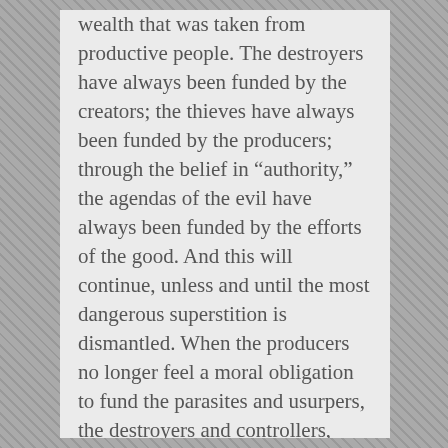wealth that was taken from productive people. The destroyers have always been funded by the creators; the thieves have always been funded by the producers; through the belief in “authority,” the agendas of the evil have always been funded by the efforts of the good. And this will continue, unless and until the most dangerous superstition is dismantled. When the producers no longer feel a moral obligation to fund the parasites and usurpers, the destroyers and controllers, tyranny will wither away, having been starved out of existence. Until then, good people will keep supplying the resources, which the bad people need in order to